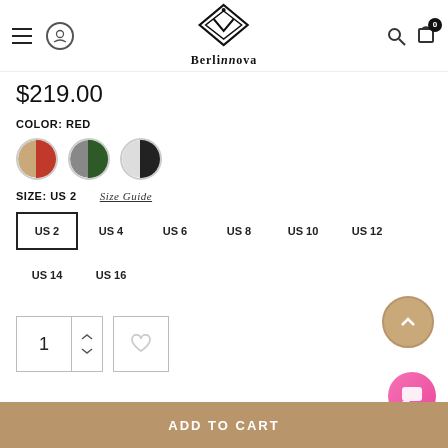BerlinNova
$219.00
COLOR: RED
SIZE: US 2  Size Guide
US 2  US 4  US 6  US 8  US 10  US 12  US 14  US 16
ADD TO CART